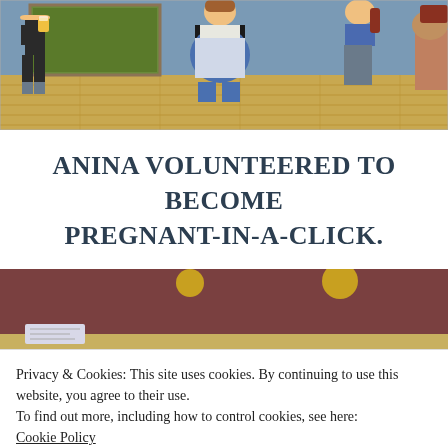[Figure (screenshot): Screenshot of a 3D virtual world scene showing avatars (characters) standing in a room with wooden floor. One avatar wearing German-style outfit holds a beer, a pregnant-looking avatar in a blue and white dress stands in the center, and another avatar in patterned pants stands to the right.]
ANINA VOLUNTEERED TO BECOME PREGNANT-IN-A-CLICK.
[Figure (screenshot): Partial screenshot of a 3D virtual world scene showing a brownish-reddish room interior, partially obscured by the cookie consent banner.]
Privacy & Cookies: This site uses cookies. By continuing to use this website, you agree to their use.
To find out more, including how to control cookies, see here:
Cookie Policy
Close and accept